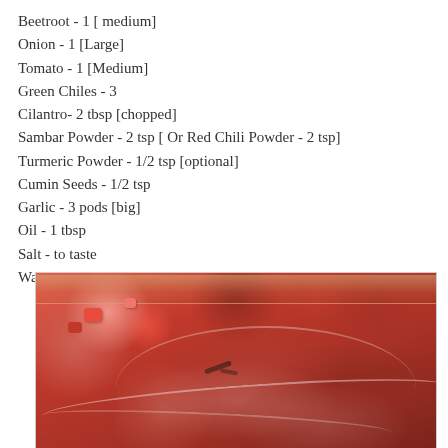Beetroot - 1  [ medium]
Onion - 1 [Large]
Tomato - 1 [Medium]
Green Chiles - 3
Cilantro- 2 tbsp [chopped]
Sambar Powder - 2 tsp [ Or Red Chili Powder - 2 tsp]
Turmeric Powder - 1/2 tsp [optional]
Cumin Seeds - 1/2 tsp
Garlic - 3 pods [big]
Oil - 1 tbsp
Salt - to taste
Water -
[Figure (photo): Close-up photo of a bowl of red curry or sambar soup with visible tomato pieces and spices floating in a deep red broth, with the bowl rim visible at the top]